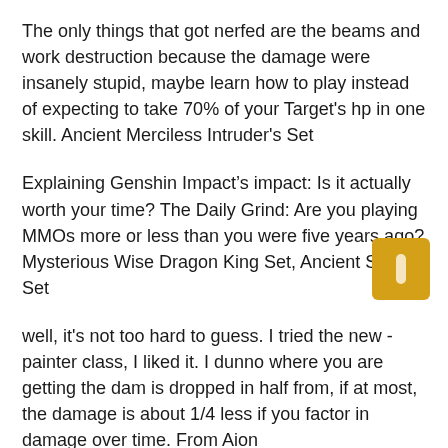The only things that got nerfed are the beams and work destruction because the damage were insanely stupid, maybe learn how to play instead of expecting to take 70% of your Target's hp in one skill. Ancient Merciless Intruder's Set
Explaining Genshin Impact’s impact: Is it actually worth your time? The Daily Grind: Are you playing MMOs more or less than you were five years ago? Mysterious Wise Dragon King Set, Ancient Splen’s Set
well, it's not too hard to guess. I tried the new -painter class, I liked it. I dunno where you are getting the dam is dropped in half from, if at most, the damage is about 1/4 less if you factor in damage over time. From Aion